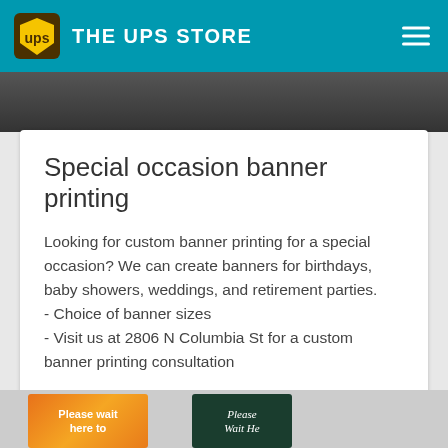THE UPS STORE
[Figure (photo): Dark background hero image photo strip]
Special occasion banner printing
Looking for custom banner printing for a special occasion? We can create banners for birthdays, baby showers, weddings, and retirement parties.
- Choice of banner sizes
- Visit us at 2806 N Columbia St for a custom banner printing consultation
START PRINT ORDER >
[Figure (photo): Bottom section showing two signs: 'Please wait here to' sign on left (orange gradient) and a dark green 'Please' sign on right]